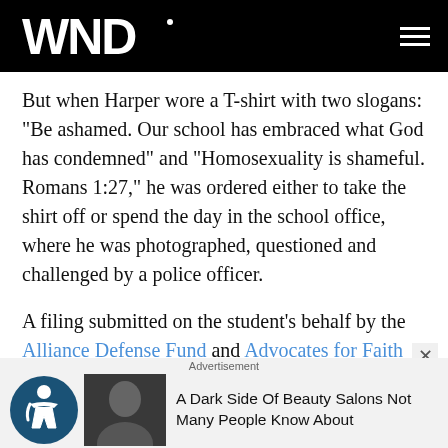WND
But when Harper wore a T-shirt with two slogans: "Be ashamed. Our school has embraced what God has condemned" and "Homosexuality is shameful. Romans 1:27," he was ordered either to take the shirt off or spend the day in the school office, where he was photographed, questioned and challenged by a police officer.
A filing submitted on the student's behalf by the Alliance Defense Fund and Advocates for Faith and Freedom, said school districts are not allowed the privilege of such censorship.
[Figure (screenshot): Advertisement banner at bottom: accessibility icon, image of person, text 'A Dark Side Of Beauty Salons Not Many People Know About']